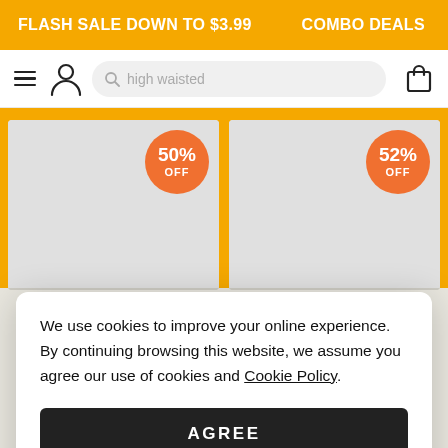FLASH SALE DOWN TO $3.99   COMBO DEALS   TOP
[Figure (screenshot): Navigation bar with hamburger menu, user icon, search box with placeholder 'high waisted', and shopping bag icon]
[Figure (infographic): Two product cards with discount badges: 50% OFF and 52% OFF on orange background]
We use cookies to improve your online experience. By continuing browsing this website, we assume you agree our use of cookies and Cookie Policy.
AGREE